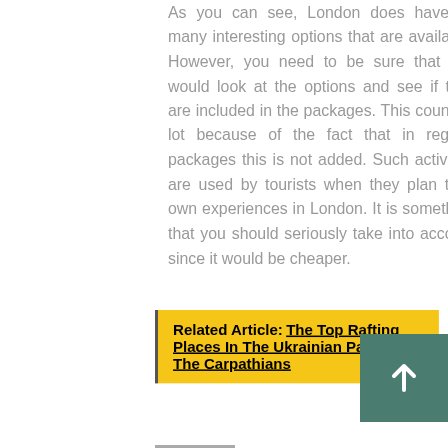As you can see, London does have so many interesting options that are available. However, you need to be sure that you would look at the options and see if they are included in the packages. This counts a lot because of the fact that in regular packages this is not added. Such activities are used by tourists when they plan their own experiences in London. It is something that you should seriously take into account since it would be cheaper.
Related Article: The Top Rafting Places In The Ukrainian Part Of The Carpathians